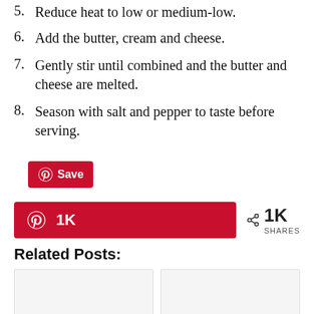5. Reduce heat to low or medium-low.
6. Add the butter, cream and cheese.
7. Gently stir until combined and the butter and cheese are melted.
8. Season with salt and pepper to taste before serving.
[Figure (other): Pinterest Save button (red rounded rectangle with Pinterest logo and 'Save' text)]
[Figure (other): Pinterest share bar showing 1K saves and 1K shares]
Related Posts:
[Figure (other): Two related post image thumbnails (blank/placeholder images)]